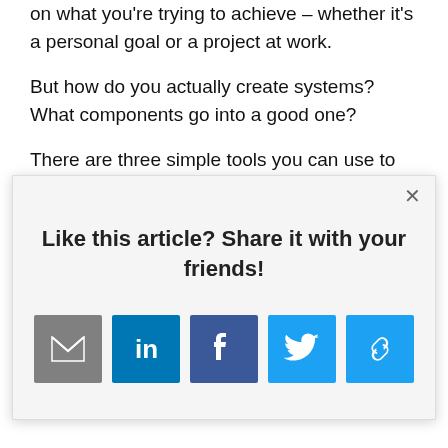on what you're trying to achieve – whether it's a personal goal or a project at work.
But how do you actually create systems? What components go into a good one?
There are three simple tools you can use to put
[Figure (screenshot): Modal popup overlay with share prompt 'Like this article? Share it with your friends!' and social share icons for Email, LinkedIn, Facebook, Twitter, and a link/copy icon. Has an X close button in top right corner.]